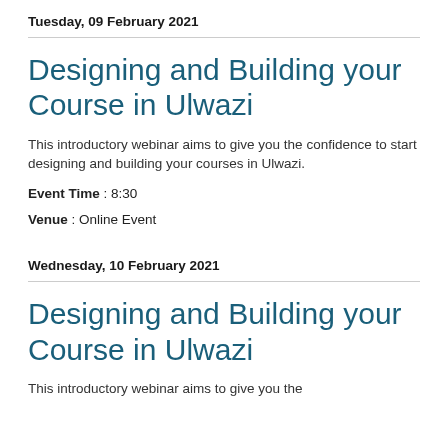Tuesday, 09 February 2021
Designing and Building your Course in Ulwazi
This introductory webinar aims to give you the confidence to start designing and building your courses in Ulwazi.
Event Time : 8:30
Venue : Online Event
Wednesday, 10 February 2021
Designing and Building your Course in Ulwazi
This introductory webinar aims to give you the